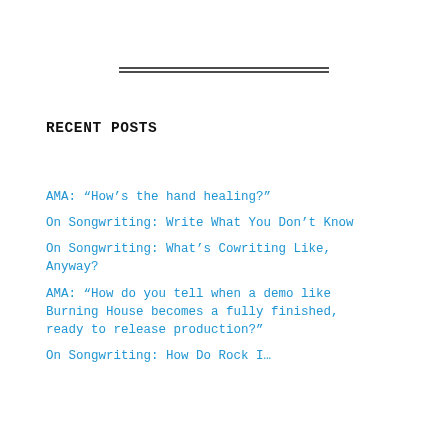[Figure (other): Horizontal double-line divider]
RECENT POSTS
AMA: “How’s the hand healing?”
On Songwriting: Write What You Don’t Know
On Songwriting: What’s Cowriting Like, Anyway?
AMA: “How do you tell when a demo like Burning House becomes a fully finished, ready to release production?”
On Songwriting: How Do Rock I…